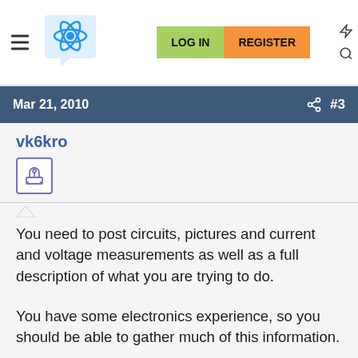LOG IN  REGISTER
Mar 21, 2010  #3
vk6kro
You need to post circuits, pictures and current and voltage measurements as well as a full description of what you are trying to do.
You have some electronics experience, so you should be able to gather much of this information.
Then it would help if you could say what you have already tried.